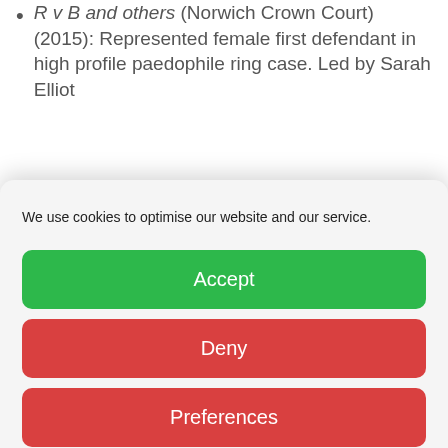R v B and others (Norwich Crown Court) (2015): Represented female first defendant in high profile paedophile ring case. Led by Sarah Elliot
We use cookies to optimise our website and our service.
Accept
Deny
Preferences
Cookies  Privacy notice
old boy who pleaded guilty to rape and other sexual offences involving a 12 year old girl. Defendant was assessed as having a mental age